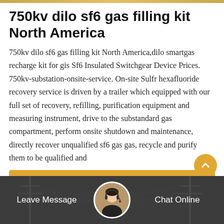750kv dilo sf6 gas filling kit North America
750kv dilo sf6 gas filling kit North America,dilo smartgas recharge kit for gis Sf6 Insulated Switchgear Device Prices. 750kv-substation-onsite-service. On-site Sulfr hexafluoride recovery service is driven by a trailer which equipped with our full set of recovery, refilling, purification equipment and measuring instrument, drive to the substandard gas compartment, perform onsite shutdown and maintenance, directly recover unqualified sf6 gas gas, recycle and purify them to be qualified and
Get Price
[Figure (photo): Bottom bar with industrial/electrical infrastructure background in dark grey overlay, avatar of customer service representative in center, with Leave Message and Chat Online buttons]
Leave Message
Chat Online